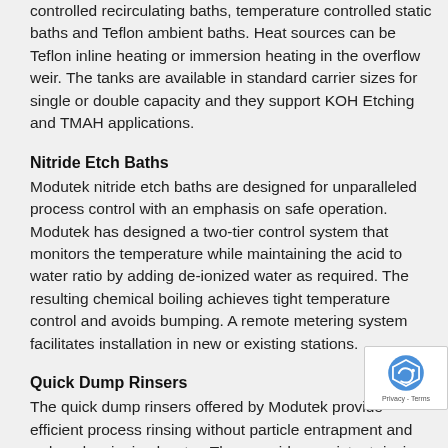controlled recirculating baths, temperature controlled static baths and Teflon ambient baths. Heat sources can be Teflon inline heating or immersion heating in the overflow weir. The tanks are available in standard carrier sizes for single or double capacity and they support KOH Etching and TMAH applications.
Nitride Etch Baths
Modutek nitride etch baths are designed for unparalleled process control with an emphasis on safe operation. Modutek has designed a two-tier control system that monitors the temperature while maintaining the acid to water ratio by adding de-ionized water as required. The resulting chemical boiling achieves tight temperature control and avoids bumping. A remote metering system facilitates installation in new or existing stations.
Quick Dump Rinsers
The quick dump rinsers offered by Modutek provide efficient process rinsing without particle entrapment and reduced us ionized water. They provide consistent rinsing with bottom f well-located D.I water spray nozzles and N2 agitation. A bo filling option that creates a vortex agitation in the rinse tank is